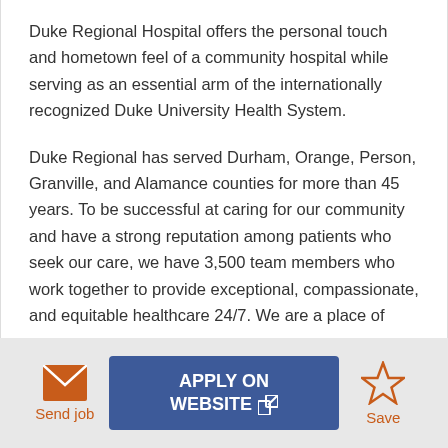Duke Regional Hospital offers the personal touch and hometown feel of a community hospital while serving as an essential arm of the internationally recognized Duke University Health System.
Duke Regional has served Durham, Orange, Person, Granville, and Alamance counties for more than 45 years. To be successful at caring for our community and have a strong reputation among patients who seek our care, we have 3,500 team members who work together to provide exceptional, compassionate, and equitable healthcare 24/7. We are a place of
Send job | APPLY ON WEBSITE | Save